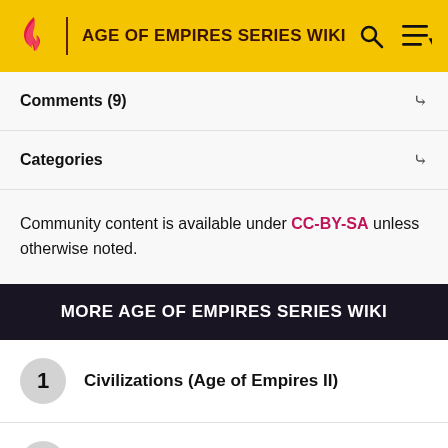AGE OF EMPIRES SERIES WIKI
Comments (9)
Categories
Community content is available under CC-BY-SA unless otherwise noted.
MORE AGE OF EMPIRES SERIES WIKI
1 Civilizations (Age of Empires II)
2 Cheat codes (Age of Empires III)